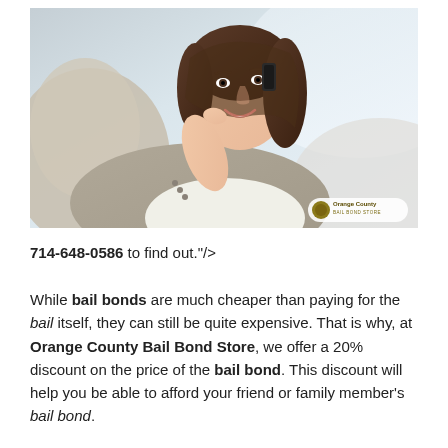[Figure (photo): A smiling woman with dark brown hair, wearing a grey blazer, lying on a couch and talking on a mobile phone, with an Orange County Bail Bond Store logo watermark in the lower right corner.]
714-648-0586 to find out."/>
While bail bonds are much cheaper than paying for the bail itself, they can still be quite expensive. That is why, at Orange County Bail Bond Store, we offer a 20% discount on the price of the bail bond. This discount will help you be able to afford your friend or family member's bail bond.